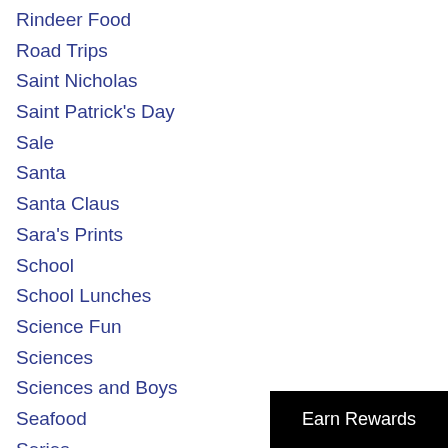Rindeer Food
Road Trips
Saint Nicholas
Saint Patrick's Day
Sale
Santa
Santa Claus
Sara's Prints
School
School Lunches
Science Fun
Sciences
Sciences and Boys
Seafood
Series
Earn Rewards